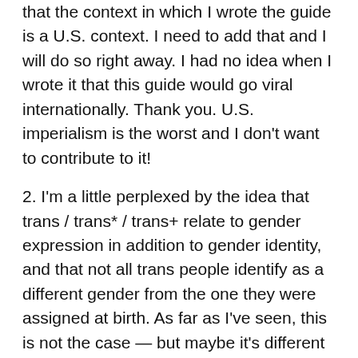that the context in which I wrote the guide is a U.S. context. I need to add that and I will do so right away. I had no idea when I wrote it that this guide would go viral internationally. Thank you. U.S. imperialism is the worst and I don't want to contribute to it!
2. I'm a little perplexed by the idea that trans / trans* / trans+ relate to gender expression in addition to gender identity, and that not all trans people identify as a different gender from the one they were assigned at birth. As far as I've seen, this is not the case — but maybe it's different in the UK? The only category of trans people I can think of whose genders DO align with their birth-assigned sex are cross-dressers